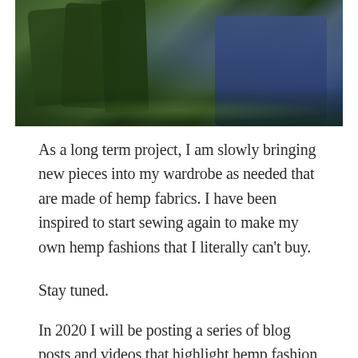[Figure (photo): Outdoor forest scene showing a person in a blue top and jeans among mossy logs and green foliage]
As a long term project, I am slowly bringing new pieces into my wardrobe as needed that are made of hemp fabrics. I have been inspired to start sewing again to make my own hemp fashions that I literally can't buy.
Stay tuned.
In 2020 I will be posting a series of blog posts and videos that highlight hemp fashion you might want to wear, hemp food recipes you might want to make.